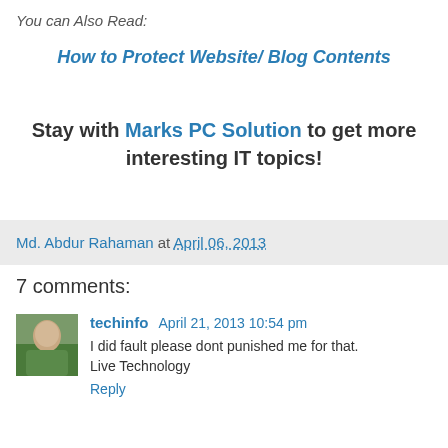You can Also Read:
How to Protect Website/ Blog Contents
Stay with Marks PC Solution to get more interesting IT topics!
Md. Abdur Rahaman at April 06, 2013
7 comments:
techinfo April 21, 2013 10:54 pm
I did fault please dont punished me for that.
Live Technology
Reply